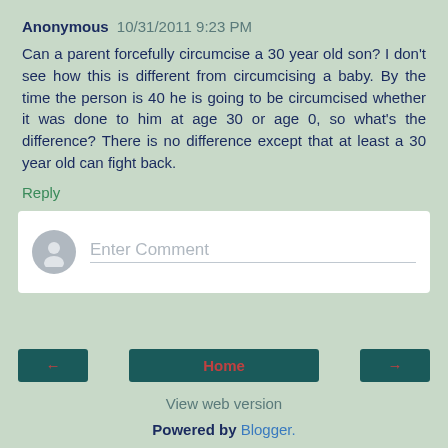Anonymous 10/31/2011 9:23 PM
Can a parent forcefully circumcise a 30 year old son? I don't see how this is different from circumcising a baby. By the time the person is 40 he is going to be circumcised whether it was done to him at age 30 or age 0, so what's the difference? There is no difference except that at least a 30 year old can fight back.
Reply
Enter Comment
Home
View web version
Powered by Blogger.